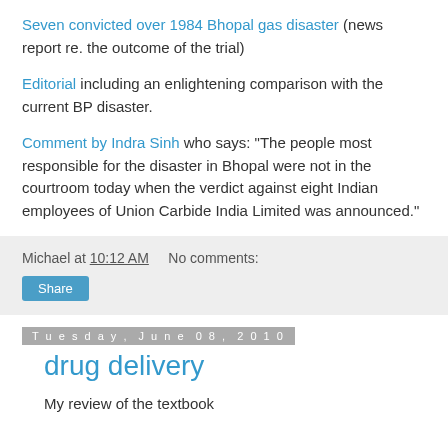Seven convicted over 1984 Bhopal gas disaster (news report re. the outcome of the trial)
Editorial including an enlightening comparison with the current BP disaster.
Comment by Indra Sinh who says: "The people most responsible for the disaster in Bhopal were not in the courtroom today when the verdict against eight Indian employees of Union Carbide India Limited was announced."
Michael at 10:12 AM   No comments:
Share
Tuesday, June 08, 2010
drug delivery
My review of the textbook